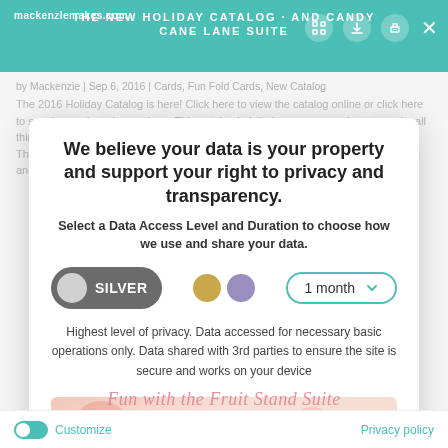THE NEW HOLIDAY CATALOG AND CANDY CANE LANE SUITE | mackenzlemakes.com
by Mackenzie | Sep 6, 2016 | Cards, Fun Fold Cards, New Catalog
The 2016 Holiday Catalog is here! Click here to view the catalog online or click here to see the products in my shop. This catalog is full of awesome products to make all things Halloween, Thanksgiving, Christmas, and New Year's related...and then some! The...
We believe your data is your property and support your right to privacy and transparency.
Select a Data Access Level and Duration to choose how we use and share your data.
SILVER  [dots: gold, purple]  1 month ⌄
Highest level of privacy. Data accessed for necessary basic operations only. Data shared with 3rd parties to ensure the site is secure and works on your device
[Figure (screenshot): Pink floral blog post image area]
Save my preferences
Fun with the Fruit Stand Suite
Customize  |  Privacy policy